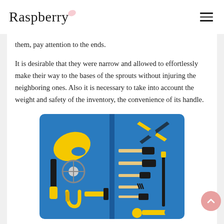Raspberry
them, pay attention to the ends.
It is desirable that they were narrow and allowed to effortlessly make their way to the bases of the sprouts without injuring the neighboring ones. Also it is necessary to take into account the weight and safety of the inventory, the convenience of its handle.
[Figure (photo): A blue case opened showing a set of yellow and black gardening tools including pruning shears, trowels, hand forks, and other small garden implements.]
Experts strongly recommend starting pruning